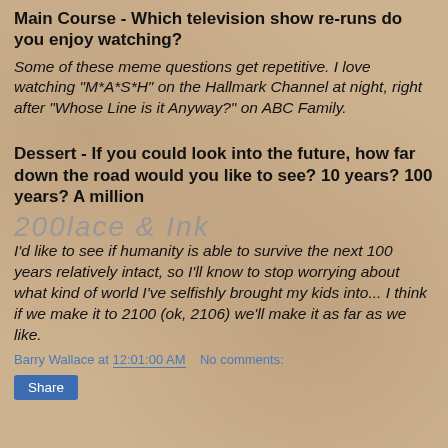Main Course - Which television show re-runs do you enjoy watching?
Some of these meme questions get repetitive. I love watching "M*A*S*H" on the Hallmark Channel at night, right after "Whose Line is it Anyway?" on ABC Family.
Dessert - If you could look into the future, how far down the road would you like to see? 10 years? 100 years? A million
I'd like to see if humanity is able to survive the next 100 years relatively intact, so I'll know to stop worrying about what kind of world I've selfishly brought my kids into... I think if we make it to 2100 (ok, 2106) we'll make it as far as we like.
Barry Wallace at 12:01:00 AM   No comments:
Share